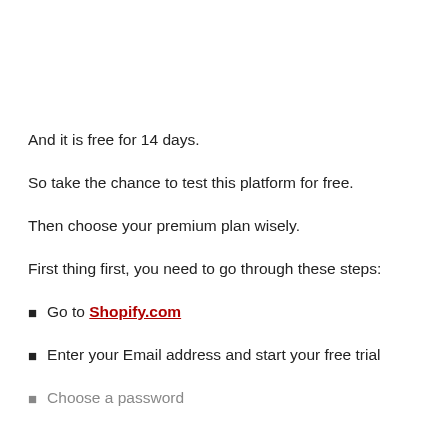And it is free for 14 days.
So take the chance to test this platform for free.
Then choose your premium plan wisely.
First thing first, you need to go through these steps:
Go to Shopify.com
Enter your Email address and start your free trial
Choose a password